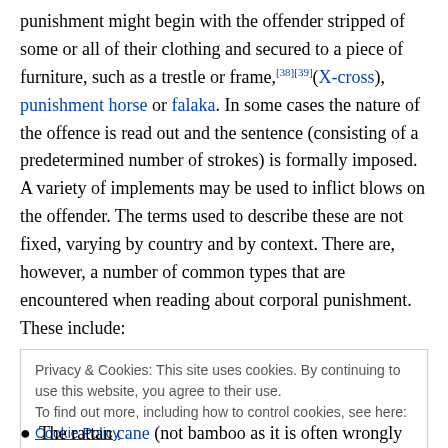punishment might begin with the offender stripped of some or all of their clothing and secured to a piece of furniture, such as a trestle or frame,[38][39](X-cross), punishment horse or falaka. In some cases the nature of the offence is read out and the sentence (consisting of a predetermined number of strokes) is formally imposed. A variety of implements may be used to inflict blows on the offender. The terms used to describe these are not fixed, varying by country and by context. There are, however, a number of common types that are encountered when reading about corporal punishment. These include:
Privacy & Cookies: This site uses cookies. By continuing to use this website, you agree to their use.
To find out more, including how to control cookies, see here: Cookie Policy
The rattan cane (not bamboo as it is often wrongly